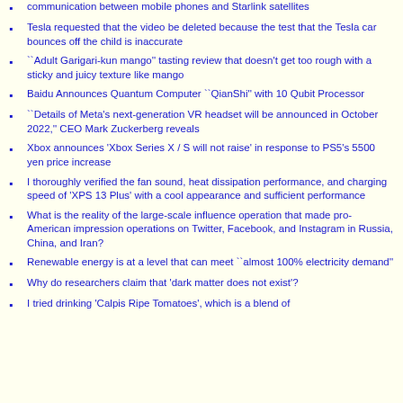communication between mobile phones and Starlink satellites
Tesla requested that the video be deleted because the test that the Tesla car bounces off the child is inaccurate
``Adult Garigari-kun mango'' tasting review that doesn't get too rough with a sticky and juicy texture like mango
Baidu Announces Quantum Computer ``QianShi'' with 10 Qubit Processor
``Details of Meta's next-generation VR headset will be announced in October 2022,'' CEO Mark Zuckerberg reveals
Xbox announces 'Xbox Series X / S will not raise' in response to PS5's 5500 yen price increase
I thoroughly verified the fan sound, heat dissipation performance, and charging speed of 'XPS 13 Plus' with a cool appearance and sufficient performance
What is the reality of the large-scale influence operation that made pro-American impression operations on Twitter, Facebook, and Instagram in Russia, China, and Iran?
Renewable energy is at a level that can meet ``almost 100% electricity demand"
Why do researchers claim that 'dark matter does not exist'?
I tried drinking 'Calpis Ripe Tomatoes', which is a blend of